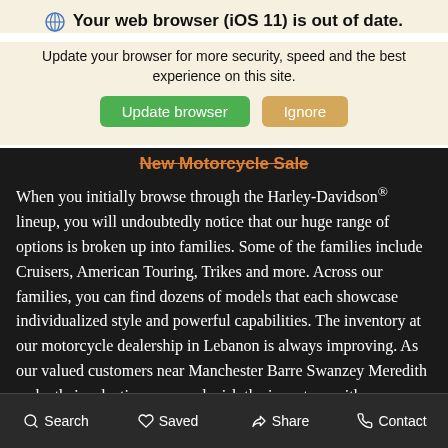Your web browser (iOS 11) is out of date.
Update your browser for more security, speed and the best experience on this site.
New Motorcycle Sale
When you initially browse through the Harley-Davidson® lineup, you will undoubtedly notice that our huge range of options is broken up into families. Some of the families include Cruisers, American Touring, Trikes and more. Across our families, you can find dozens of models that each showcase individualized style and powerful capabilities. The inventory at our motorcycle dealership in Lebanon is always improving. As our valued customers near Manchester Barre Swanzey Meredith make their selections, we replenish the inventory with more possibilities for the next shoppers to explore. You will never be disappointed by what you find in stock when you shop at Twin States Harley-Davidson®.
Search  Saved  Share  Contact